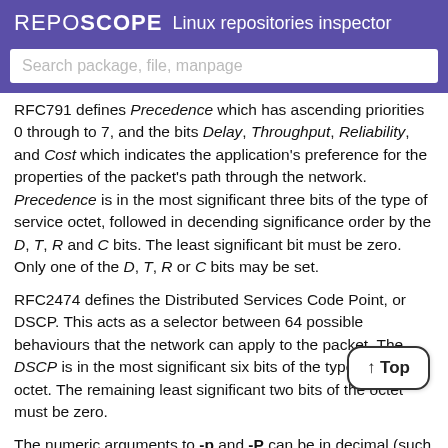REPOSCOPE  Linux repositories inspector
Search package, file, manpage
RFC791 defines Precedence which has ascending priorities 0 through to 7, and the bits Delay, Throughput, Reliability, and Cost which indicates the application's preference for the properties of the packet's path through the network. Precedence is in the most significant three bits of the type of service octet, followed in decending significance order by the D, T, R and C bits. The least significant bit must be zero. Only one of the D, T, R or C bits may be set.
RFC2474 defines the Distributed Services Code Point, or DSCP. This acts as a selector between 64 possible behaviours that the network can apply to the packet. The DSCP is in the most significant six bits of the type of service octet. The remaining least significant two bits of the octet must be zero.
The numeric arguments to -p and -P can be in decimal (such as 11), octal (such as 013) or hexadecimal (such as 0x0b). So padding decimal arguments with leading zeros will change the value read.
You may need to be superuser to set some -p or -P values